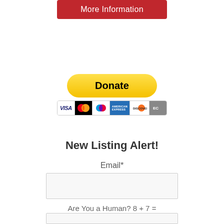[Figure (other): Red 'More Information' button]
[Figure (other): PayPal Donate button with payment card icons (Visa, Mastercard, Maestro, American Express, Discover, EC)]
New Listing Alert!
Email*
[Figure (other): Email input text field]
Are You a Human? 8 + 7 =
[Figure (other): Human verification answer input text field]